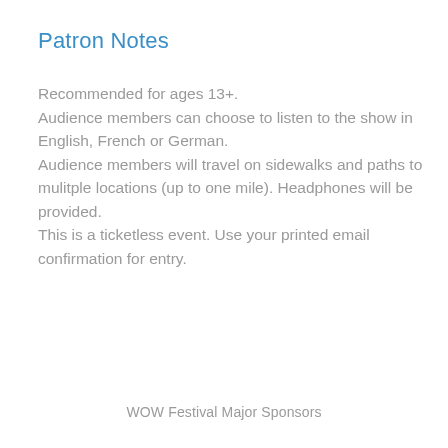Patron Notes
Recommended for ages 13+.
Audience members can choose to listen to the show in English, French or German.
Audience members will travel on sidewalks and paths to mulitple locations (up to one mile). Headphones will be provided.
This is a ticketless event. Use your printed email confirmation for entry.
WOW Festival Major Sponsors